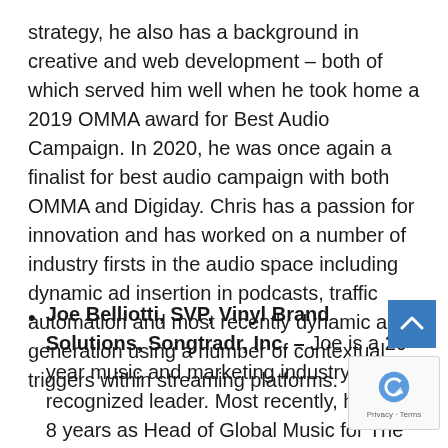strategy, he also has a background in creative and web development – both of which served him well when he took home a 2019 OMMA award for Best Audio Campaign. In 2020, he was once again a finalist for best audio campaign with both OMMA and Digiday. Chris has a passion for innovation and has worked on a number of industry firsts in the audio space including dynamic ad insertion in podcasts, traffic automation and most recently dynamic ad generation using a number of contextual triggers within streaming platforms.
Joe Belliotti, SVP, Vinyl Brand Solutions, Songtradr, Inc. – Joe is a 20+ year music and marketing industry recognized leader. Most recently, he spent 8 years as Head of Global Music for The Coca-Cola Company where he architected and global scalable strategies, partnerships and